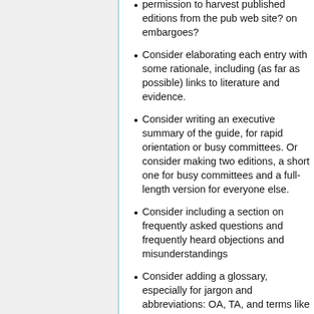permission to harvest published editions from the pub web site? on embargoes?
Consider elaborating each entry with some rationale, including (as far as possible) links to literature and evidence.
Consider writing an executive summary of the guide, for rapid orientation or busy committees. Or consider making two editions, a short one for busy committees and a full-length version for everyone else.
Consider including a section on frequently asked questions and frequently heard objections and misunderstandings
Consider adding a glossary, especially for jargon and abbreviations: OA, TA, and terms like